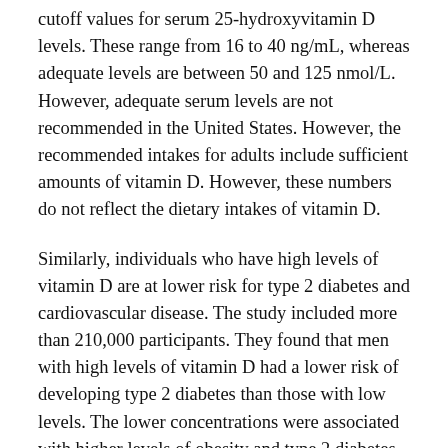cutoff values for serum 25-hydroxyvitamin D levels. These range from 16 to 40 ng/mL, whereas adequate levels are between 50 and 125 nmol/L. However, adequate serum levels are not recommended in the United States. However, the recommended intakes for adults include sufficient amounts of vitamin D. However, these numbers do not reflect the dietary intakes of vitamin D.
Similarly, individuals who have high levels of vitamin D are at lower risk for type 2 diabetes and cardiovascular disease. The study included more than 210,000 participants. They found that men with high levels of vitamin D had a lower risk of developing type 2 diabetes than those with low levels. The lower concentrations were associated with higher levels of obesity and type 2 diabetes. But despite the low levels,